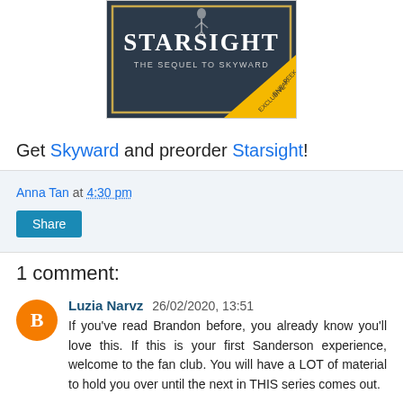[Figure (photo): Book cover of 'Starsight: The Sequel to Skyward' with an exclusive sneak peek banner]
Get Skyward and preorder Starsight!
Anna Tan at 4:30 pm
Share
1 comment:
Luzia Narvz 26/02/2020, 13:51
If you've read Brandon before, you already know you'll love this. If this is your first Sanderson experience, welcome to the fan club. You will have a LOT of material to hold you over until the next in THIS series comes out.